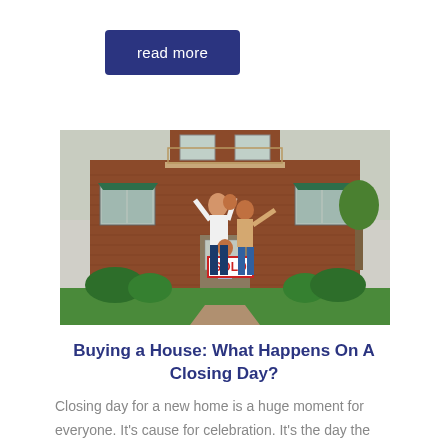read more
[Figure (photo): A happy family standing in front of a brick house holding a SOLD sign, celebrating their home purchase.]
Buying a House: What Happens On A Closing Day?
Closing day for a new home is a huge moment for everyone. It's cause for celebration. It's the day the property gets transferred from the